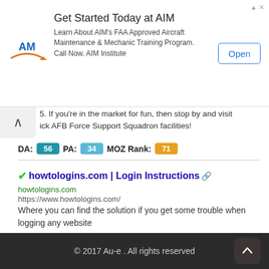[Figure (other): Ad banner for AIM Institute - Get Started Today at AIM]
5. If you're in the market for fun, then stop by and visit ick AFB Force Support Squadron facilities!
DA: 56 PA: 34 MOZ Rank: 71
✓howtologins.com | Login Instructions 🔗
howtologins.com
https://www.howtologins.com/
Where you can find the solution if you get some trouble when logging any website
DA: 38 PA: 86 MOZ Rank: 57
© 2017 Au-e . All rights reserved